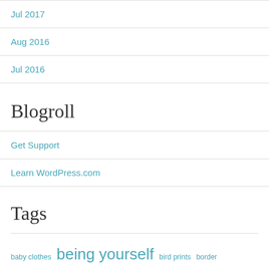Jul 2017
Aug 2016
Jul 2016
Blogroll
Get Support
Learn WordPress.com
Tags
baby clothes  being yourself  bird prints  border prints  cashmerette  chalk & stone patterns  collars  Dashwood Studios  denim  dresses